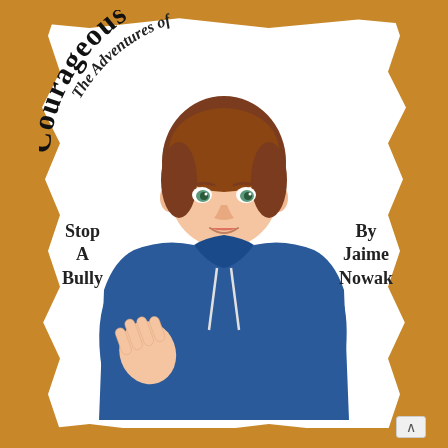[Figure (illustration): Book cover for 'The Adventures of Courageous Connor: Stop A Bully' by Jaime Nowak. Features an illustrated boy with brown hair wearing a blue hoodie, holding up one hand in a 'stop' gesture. The title curves in an arc at the top. The background has a golden/brown brushstroke border around a white center.]
The Adventures of Courageous Connor
Stop A Bully
By Jaime Nowak